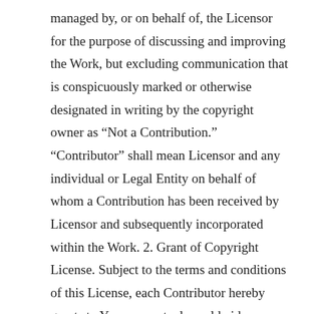managed by, or on behalf of, the Licensor for the purpose of discussing and improving the Work, but excluding communication that is conspicuously marked or otherwise designated in writing by the copyright owner as “Not a Contribution.” “Contributor” shall mean Licensor and any individual or Legal Entity on behalf of whom a Contribution has been received by Licensor and subsequently incorporated within the Work. 2. Grant of Copyright License. Subject to the terms and conditions of this License, each Contributor hereby grants to You a perpetual, worldwide, non-exclusive, no-charge, royalty-free, irrevocable copyright license to reproduce, prepare Derivative Works of, publicly display, publicly perform, sublicense, and distribute the Work and such Derivative Works in Source or Object form. 3. Grant of Patent License. Subject to the terms and conditions of this